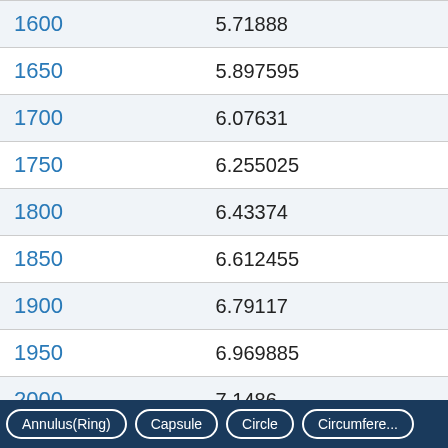| n | value |
| --- | --- |
| 1600 | 5.71888 |
| 1650 | 5.897595 |
| 1700 | 6.07631 |
| 1750 | 6.255025 |
| 1800 | 6.43374 |
| 1850 | 6.612455 |
| 1900 | 6.79117 |
| 1950 | 6.969885 |
| 2000 | 7.1486 |
Annulus(Ring)   Capsule   Circle   Circumference